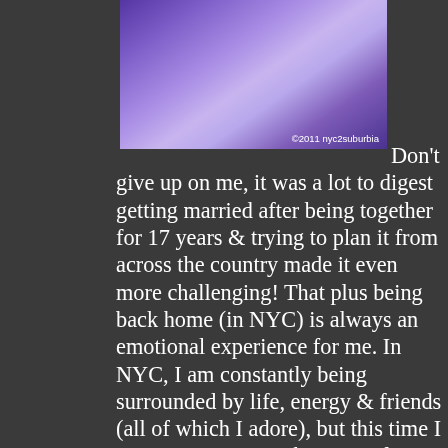[Figure (photo): Purple-toned photo with watermark '©2011 nyc2suburbia' in lower right corner]
Don't give up on me, it was a lot to digest getting married after being together for 17 years & trying to plan it from across the country made it even more challenging! That plus being back home (in NYC) is always an emotional experience for me. In NYC, I am constantly being surrounded by life, energy & friends (all of which I adore), but this time I was super sensitive because of our pending wedding. Enter the Gay Groomzillas, still not sure who was worse (or better, depending on your point of view)!!!
Now some of you have asked when is the California party gonna take place, because originally our plan was to have another celebration out here also. In a "nutshell" it ain't gonna happen, but that's a whole 'nother story that we won't get into now. Our party was in NYC & it rocked, anything else would be a bad imitation & just pale in comparison. We're not the kind